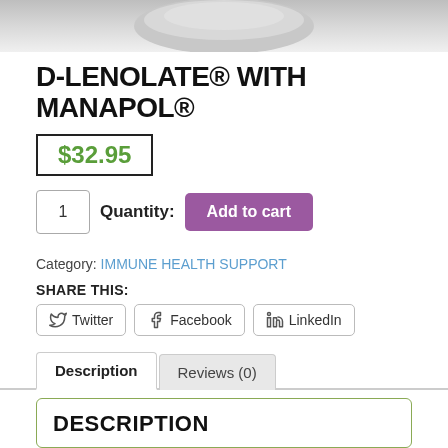[Figure (photo): Product image: partial view of a supplement container, shown from above/side, gray tones]
D-LENOLATE® WITH MANAPOL®
$32.95
1   Quantity:  Add to cart
Category: IMMUNE HEALTH SUPPORT
SHARE THIS:
Twitter   Facebook   LinkedIn
Description   Reviews (0)
DESCRIPTION